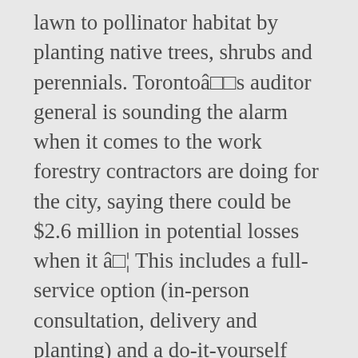lawn to pollinator habitat by planting native trees, shrubs and perennials. Torontoâ s auditor general is sounding the alarm when it comes to the work forestry contractors are doing for the city, saying there could be $2.6 million in potential losses when it â¦ This includes a full-service option (in-person consultation, delivery and planting) and a do-it-yourself option. Visit the City of Toronto website and see the information on tree planting An inspector will visit your address to help determine appropriate tree selection and location. Local Enhancement and Appreciation of Forests (LEAF) is working with the Toronto Community Housing Corporation (TCHC) to engage communities in the